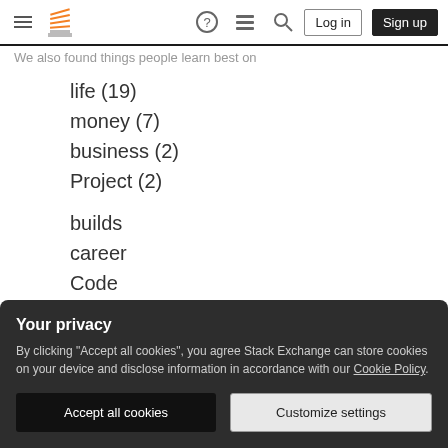Stack Exchange navigation bar with hamburger menu, logo, help, chat, search icons, Log in and Sign up buttons
We also found things people learn best on
life (19)
money (7)
business (2)
Project (2)
builds
career
Code
Computation
grades
Your privacy
By clicking "Accept all cookies", you agree Stack Exchange can store cookies on your device and disclose information in accordance with our Cookie Policy.
Accept all cookies  Customize settings